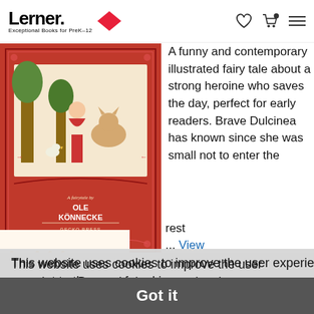Lerner. Exceptional Books for PreK-12
[Figure (illustration): Book cover illustration: red/orange background with decorative border, fairy tale characters, text 'A fairytale by OLE KÖNNECKE' and 'GECKO PRESS']
A funny and contemporary illustrated fairy tale about a strong heroine who saves the day, perfect for early readers. Brave Dulcinea has known since she was small not to enter the
rest
... View
This website uses cookies to improve the user experience. By continuing to use the site, you consent to the use of cookies.
To review our privacy policy and how we use cookies, please click here.
ers
ird
Stories
[Figure (illustration): Bottom partial book cover thumbnail with orange/yellow text 'bubbles']
Got it